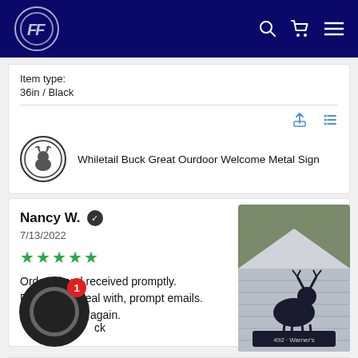FF [logo] navigation header with search, cart, and menu icons
Item type:
36in / Black
Whiletail Buck Great Ourdoor Welcome Metal Sign
Nancy W. ✓
7/13/2022
★★★★★
Ordered and received promptly.  Pleasant to deal with, prompt emails.  Will purchase again.
Black